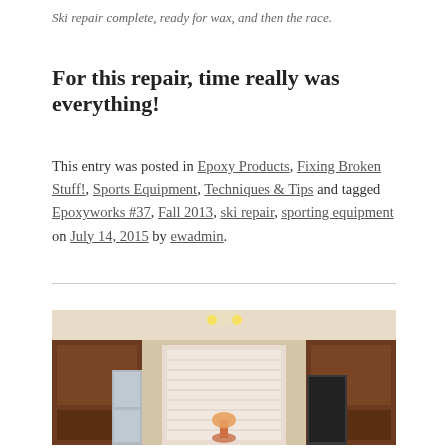Ski repair complete, ready for wax, and then the race.
For this repair, time really was everything!
This entry was posted in Epoxy Products, Fixing Broken Stuff!, Sports Equipment, Techniques & Tips and tagged Epoxyworks #37, Fall 2013, ski repair, sporting equipment on July 14, 2015 by ewadmin.
[Figure (photo): Interior photo of a kitchen with wood cabinets, a refrigerator, and ceiling lights visible.]